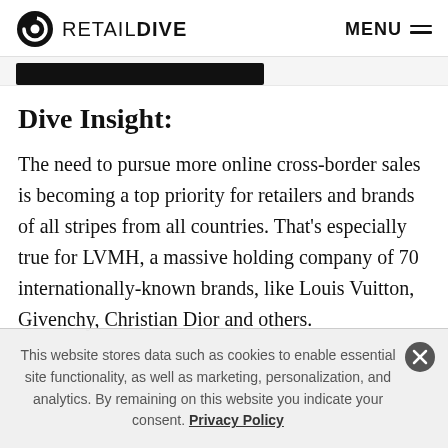RETAIL DIVE | MENU
Dive Insight:
The need to pursue more online cross-border sales is becoming a top priority for retailers and brands of all stripes from all countries. That’s especially true for LVMH, a massive holding company of 70 internationally-known brands, like Louis Vuitton, Givenchy, Christian Dior and others.
This website stores data such as cookies to enable essential site functionality, as well as marketing, personalization, and analytics. By remaining on this website you indicate your consent. Privacy Policy